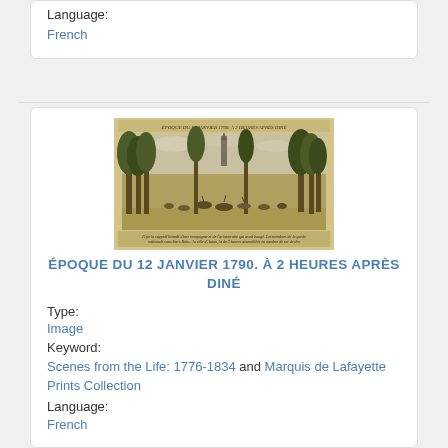Language:
French
[Figure (illustration): Historical engraving showing a crowd of people gathered among trees, dated January 12, 1790. Title text at top and caption text at bottom of the engraving.]
ÉPOQUE DU 12 JANVIER 1790. À 2 HEURES APRÈS DINÉ
Type:
Image
Keyword:
Scenes from the Life: 1776-1834 and Marquis de Lafayette Prints Collection
Language:
French